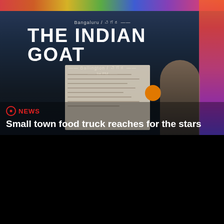[Figure (photo): Photo of The Indian Goat food truck with colorful decorative strips, menu boards visible, and a person standing in front. The truck has white text reading 'THE INDIAN GOAT' with 'Bangaluru' and 'Ballington' text above and below.]
NEWS
Small town food truck reaches for the stars
We use cookies to personalise site content and to analyse our traffic. We also share some information about your use of this site with our advertising partners.
Privacy Policy
Accept